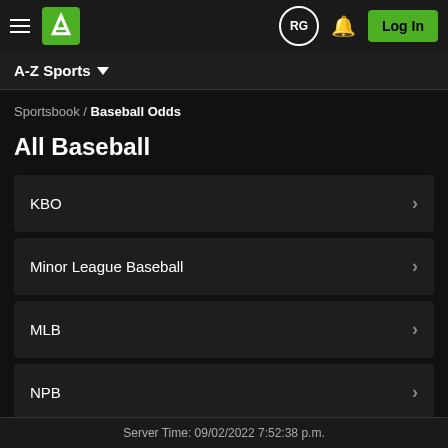DraftKings navigation bar with hamburger menu, DK logo, RG badge, bell icon, Log In button
A-Z Sports
Sportsbook / Baseball Odds
All Baseball
KBO
Minor League Baseball
MLB
NPB
Server Time: 09/02/2022 7:52:38 p.m.